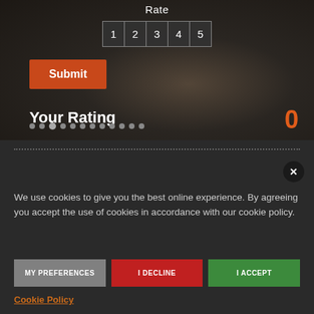[Figure (screenshot): Dark themed rating widget over a blurred background image showing a gaming peripheral (headphones/controller). Contains 'Rate' label, numbered boxes 1-5, a Submit button, 'Your Rating' label, and a '0' value.]
Rate
1  2  3  4  5
Submit
Your Rating
0
We use cookies to give you the best online experience. By agreeing you accept the use of cookies in accordance with our cookie policy.
MY PREFERENCES
I DECLINE
I ACCEPT
Cookie Policy
By Wii U, mobile, GameBoy edition is now only in the Portable franchise, aiming more towards casual players and